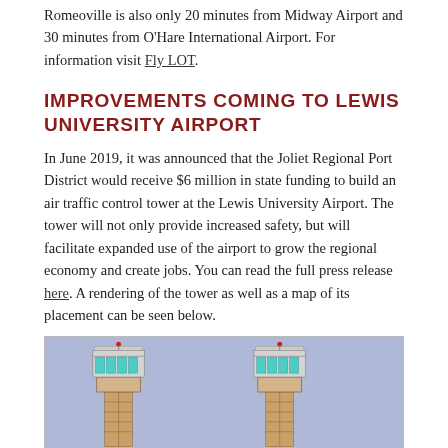Romeoville is also only 20 minutes from Midway Airport and 30 minutes from O'Hare International Airport. For information visit Fly LOT.
IMPROVEMENTS COMING TO LEWIS UNIVERSITY AIRPORT
In June 2019, it was announced that the Joliet Regional Port District would receive $6 million in state funding to build an air traffic control tower at the Lewis University Airport. The tower will not only provide increased safety, but will facilitate expanded use of the airport to grow the regional economy and create jobs. You can read the full press release here. A rendering of the tower as well as a map of its placement can be seen below.
[Figure (illustration): Rendering of air traffic control tower at Lewis University Airport showing two tower designs side by side against a light purple/blue background.]